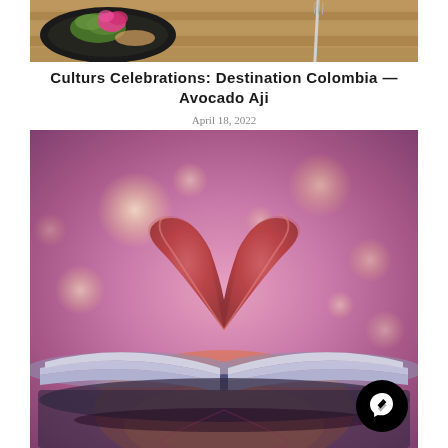[Figure (photo): Top portion of a food photo showing a dark plate with green salad and pink flower garnish, with a fork and wooden background visible]
Culturs Celebrations: Destination Colombia — Avocado Aji
April 18, 2022
[Figure (photo): A book with pages folded into a heart shape, set against a warm bokeh background with soft pink and golden light circles]